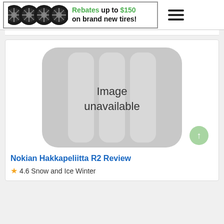[Figure (infographic): Banner advertisement showing four black tire/wheel images on the left, with text 'Rebates up to $150 on brand new tires!' in bold black and green text on white background with border]
[Figure (photo): Image unavailable placeholder graphic — grey rounded rectangle with vertical stripe pattern and text 'Image unavailable' in the center]
Nokian Hakkapeliitta R2 Review
4.6 Snow and Ice Winter